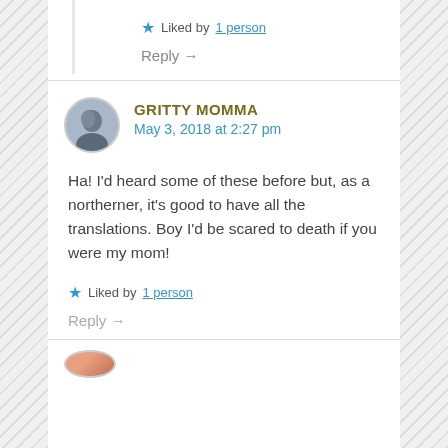★ Liked by 1 person
Reply →
GRITTY MOMMA
May 3, 2018 at 2:27 pm
Ha! I'd heard some of these before but, as a northerner, it's good to have all the translations. Boy I'd be scared to death if you were my mom!
★ Liked by 1 person
Reply →